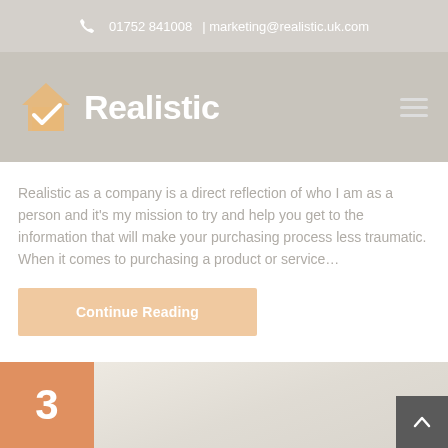📞 01752 841008   |   marketing@realistic.uk.com
[Figure (logo): Realistic company logo with house checkmark icon and bold white text 'Realistic' on grey background with hamburger menu icon]
Realistic as a company is a direct reflection of who I am as a person and it's my mission to try and help you get to the information that will make your purchasing process less traumatic. When it comes to purchasing a product or service…
Continue Reading
[Figure (other): Bottom thumbnail area with orange number badge showing '3' and a light grey/white blurred background image]